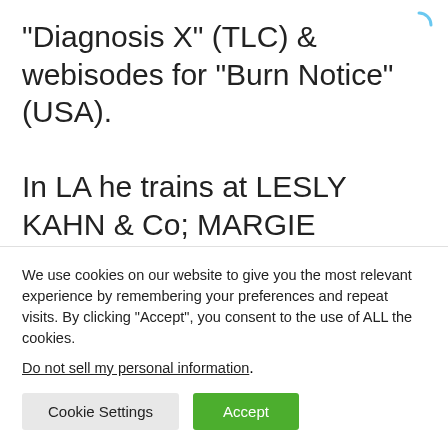“Diagnosis X” (TLC) & webisodes for “Burn Notice” (USA).

In LA he trains at LESLY KAHN & Co; MARGIE HABER & the LARRY MOSS studios. Fine teachers such as AUSTIN PENDLETON & SUSAN BATSON (Nicole Kidman’s coach) have commended his ability. In fact, Susan recommended him
We use cookies on our website to give you the most relevant experience by remembering your preferences and repeat visits. By clicking “Accept”, you consent to the use of ALL the cookies.
Do not sell my personal information.
Cookie Settings
Accept